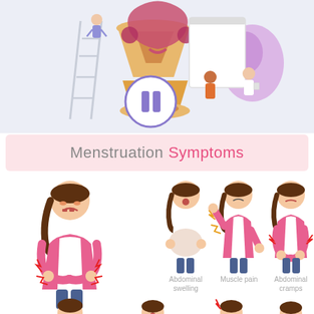[Figure (illustration): Medical infographic header illustration showing a uterus anatomy diagram, an hourglass, a pause symbol, and cartoon doctor/patient figures on a light blue-grey background]
Menstruation Symptoms
[Figure (infographic): Cartoon illustrations of a girl showing menstruation symptoms: a large figure in the center, and smaller labeled figures for Abdominal swelling, Muscle pain, Abdominal cramps, with partial figures visible at bottom]